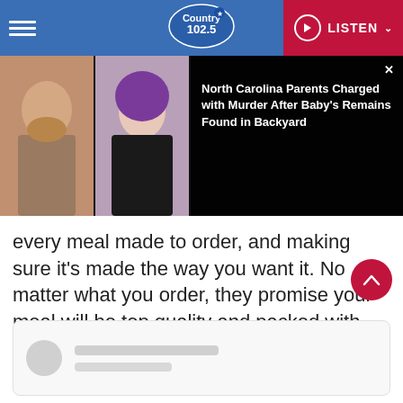Country 102.5 — LISTEN
[Figure (photo): Two mugshot photos side by side on a black background with a news headline overlay popup]
North Carolina Parents Charged with Murder After Baby's Remains Found in Backyard
every meal made to order, and making sure it's made the way you want it. No matter what you order, they promise your meal will be top quality and packed with genuine Mexican flavor.